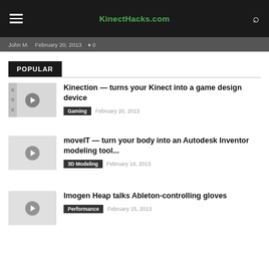KinectHacks.com
John M. · February 20, 2013 · ♦ 0
POPULAR
Kinection — turns your Kinect into a game design device
Gaming   February 20, 2013
moveIT — turn your body into an Autodesk Inventor modeling tool...
3D Modeling   February 18, 2013
Imogen Heap talks Ableton-controlling gloves
Performance   February 15, 2013